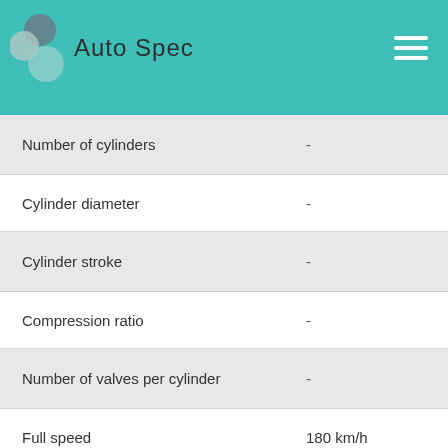Auto Spec
| Specification | Value |
| --- | --- |
| Number of cylinders | - |
| Cylinder diameter | - |
| Cylinder stroke | - |
| Compression ratio | - |
| Number of valves per cylinder | - |
| Full speed | 180 km/h |
| Acceleration from 0 to 100 km/h | 10.9 sec |